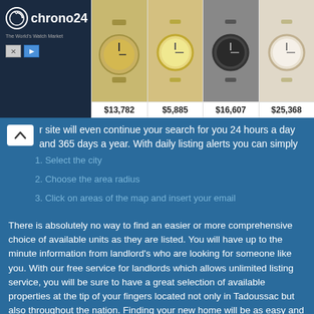[Figure (screenshot): Chrono24 watch advertisement banner showing logo on dark background and four watch images with prices: $13,782, $5,885, $16,607, $25,368]
r site will even continue your search for you 24 hours a day and 365 days a year. With daily listing alerts you can simply
1. Select the city
2. Choose the area radius
3. Click on areas of the map and insert your email
There is absolutely no way to find an easier or more comprehensive choice of available units as they are listed. You will have up to the minute information from landlord's who are looking for someone like you. With our free service for landlords which allows unlimited listing service, you will be sure to have a great selection of available properties at the tip of your fingers located not only in Tadoussac but also throughout the nation. Finding your new home will be as easy and close as your inbox when you receive emails about the available properties that fit your specific needs and criteria. Your search for houses for rent